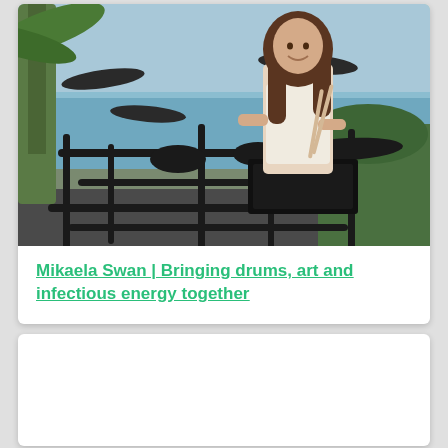[Figure (photo): Young woman with long dark hair sitting behind an electronic drum kit outdoors near the ocean, with palm trees and blue sky in the background. She is smiling and holding drumsticks.]
Mikaela Swan | Bringing drums, art and infectious energy together
[Figure (photo): Partially visible second card/article below, mostly white/empty area visible.]